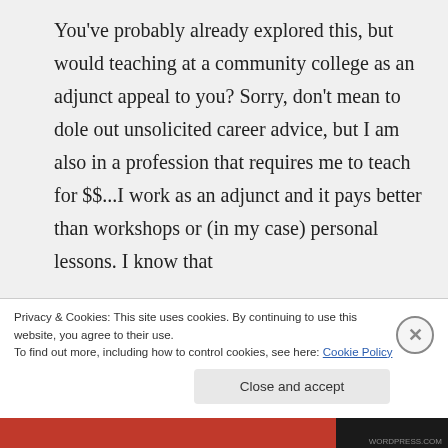You've probably already explored this, but would teaching at a community college as an adjunct appeal to you? Sorry, don't mean to dole out unsolicited career advice, but I am also in a profession that requires me to teach for $$...I work as an adjunct and it pays better than workshops or (in my case) personal lessons. I know that
Privacy & Cookies: This site uses cookies. By continuing to use this website, you agree to their use.
To find out more, including how to control cookies, see here: Cookie Policy
Close and accept